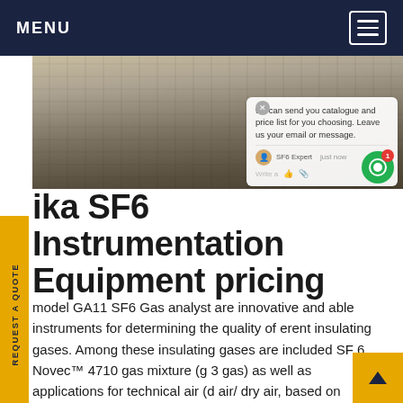MENU
[Figure (photo): Outdoor asphalt surface with cables and yellow safety barrier, showing SF6 gas instrumentation setup at a substation or industrial facility.]
we can send you catalogue and price list for you choosing. Leave us your email or message.
ika SF6 Instrumentation Equipment pricing
model GA11 SF6 Gas analyst are innovative and able instruments for determining the quality of erent insulating gases. Among these insulating gases are included SF 6, Novec™ 4710 gas mixture (g 3 gas) as well as applications for technical air (d air/ dry air, based on oxygen and nitrogen). The Gas analyst GA11 can measure the concentration of